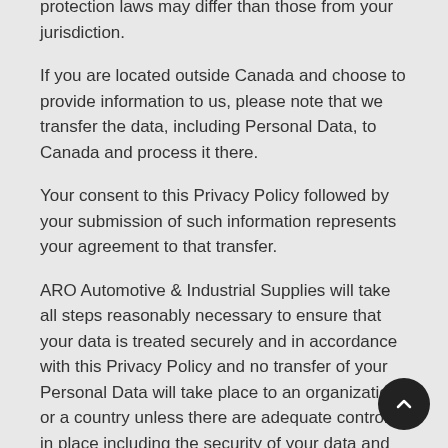protection laws may differ than those from your jurisdiction.
If you are located outside Canada and choose to provide information to us, please note that we transfer the data, including Personal Data, to Canada and process it there.
Your consent to this Privacy Policy followed by your submission of such information represents your agreement to that transfer.
ARO Automotive & Industrial Supplies will take all steps reasonably necessary to ensure that your data is treated securely and in accordance with this Privacy Policy and no transfer of your Personal Data will take place to an organization or a country unless there are adequate controls in place including the security of your data and other personal information.